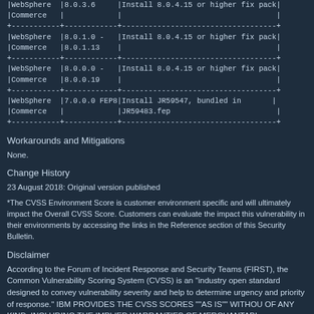| Product | Version | Remediation |
| --- | --- | --- |
| WebSphere Commerce | 8.0.3.6 | Install 8.0.4.15 or higher fix pack |
| WebSphere Commerce | 8.0.1.0 - 8.0.1.13 | Install 8.0.4.15 or higher fix pack |
| WebSphere Commerce | 8.0.0.0 - 8.0.0.19 | Install 8.0.4.15 or higher fix pack |
| WebSphere Commerce | 7.0.0.0 FEP8 | Install JR59547, bundled in JR59483.fep |
Workarounds and Mitigations
None.
Change History
23 August 2018: Original version published
*The CVSS Environment Score is customer environment specific and will ultimately impact the Overall CVSS Score. Customers can evaluate the impact this vulnerability in their environments by accessing the links in the Reference section of this Security Bulletin.
Disclaimer
According to the Forum of Incident Response and Security Teams (FIRST), the Common Vulnerability Scoring System (CVSS) is an "industry open standard designed to convey vulnerability severity and help to determine urgency and priority of response." IBM PROVIDES THE CVSS SCORES ""AS IS"" WITHOUT OF ANY KIND, INCLUDING THE IMPLIED WARRANTIES OF MERCHANTABI